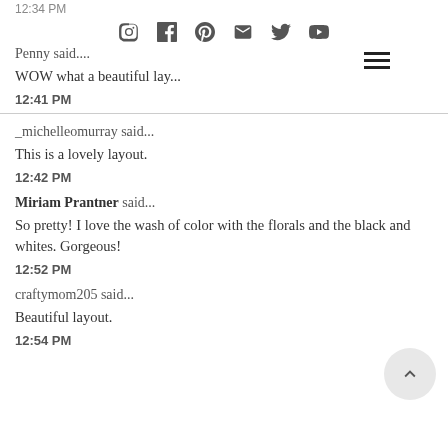12:34 PM
[Figure (other): Social media icons: Instagram, Facebook, Pinterest, Email, Twitter, YouTube]
Penny said....
WOW what a beautiful lay...
12:41 PM
_michelleomurray said...
This is a lovely layout.
12:42 PM
Miriam Prantner said...
So pretty! I love the wash of color with the florals and the black and whites. Gorgeous!
12:52 PM
craftymom205 said...
Beautiful layout.
12:54 PM